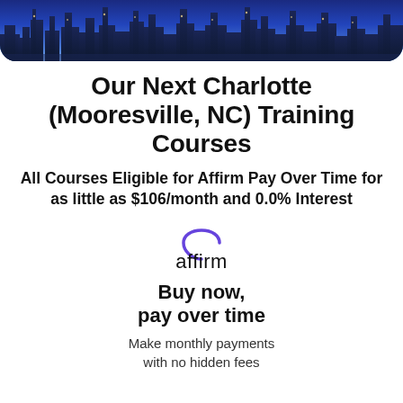[Figure (photo): City skyline at night with blue-purple lighting, buildings silhouetted against a blue sky]
Our Next Charlotte (Mooresville, NC) Training Courses
All Courses Eligible for Affirm Pay Over Time for as little as $106/month and 0.0% Interest
[Figure (logo): Affirm logo with arc above the text]
Buy now, pay over time
Make monthly payments with no hidden fees